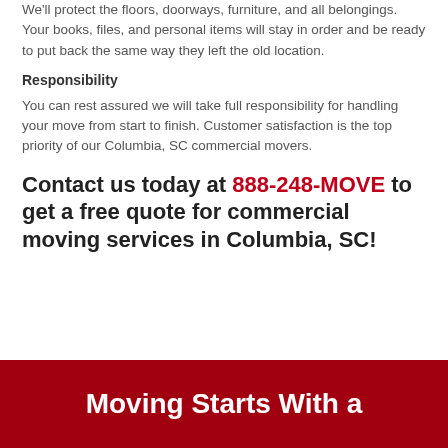We'll protect the floors, doorways, furniture, and all belongings. Your books, files, and personal items will stay in order and be ready to put back the same way they left the old location.
Responsibility
You can rest assured we will take full responsibility for handling your move from start to finish. Customer satisfaction is the top priority of our Columbia, SC commercial movers.
Contact us today at 888-248-MOVE to get a free quote for commercial moving services in Columbia, SC!
Moving Starts With a